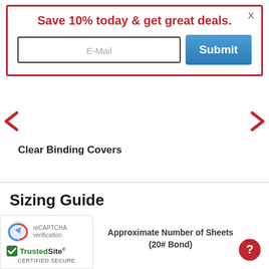Save 10% today & get great deals.
E-Mail
Submit
X
Clear Binding Covers
Sizing Guide
| Size | Approximate Number of Sheets (20# Bond) |
| --- | --- |
[Figure (logo): TrustedSite certified secure badge with reCAPTCHA icon]
[Figure (other): Red circular help/question mark button]